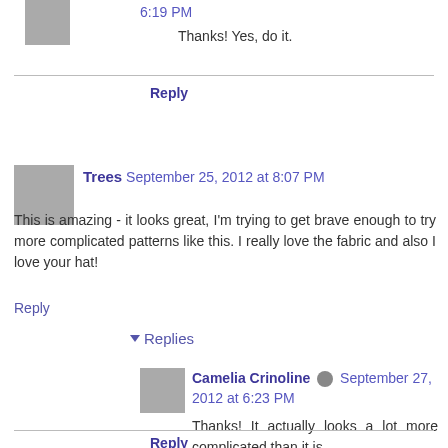6:19 PM
Thanks! Yes, do it.
Reply
Trees  September 25, 2012 at 8:07 PM
This is amazing - it looks great, I'm trying to get brave enough to try more complicated patterns like this. I really love the fabric and also I love your hat!
Reply
Replies
Camelia Crinoline  September 27, 2012 at 6:23 PM
Thanks! It actually looks a lot more complicated than it is.
Reply